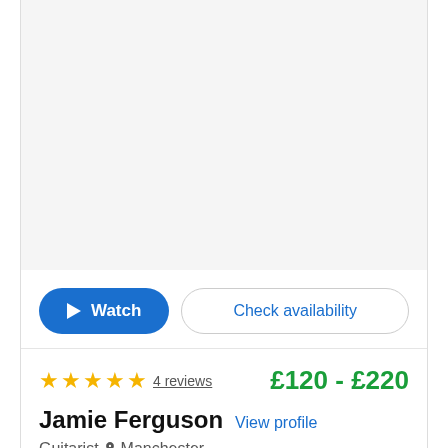[Figure (photo): Blank/white image placeholder area for performer video or photo]
Watch   Check availability
★★★★★  4 reviews   £120 - £220
Jamie Ferguson  View profile
Guitarist  📍 Manchester
Entertaining one-man band with critical